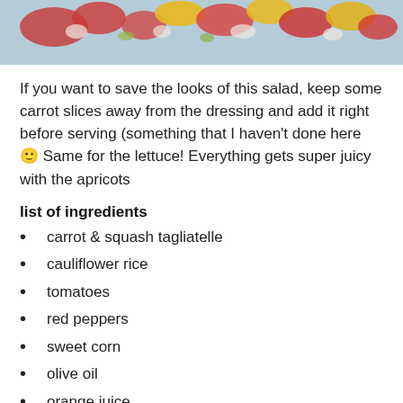[Figure (photo): Top portion of a salad photo showing colorful vegetables including red tomatoes, yellow corn, and white cauliflower on a light blue/gray background]
If you want to save the looks of this salad, keep some carrot slices away from the dressing and add it right before serving (something that I haven't done here 🙂 Same for the lettuce! Everything gets super juicy with the apricots
list of ingredients
carrot & squash tagliatelle
cauliflower rice
tomatoes
red peppers
sweet corn
olive oil
orange juice
apricots
fresh ginger
seeds (hemp, sesame, sunflower, etc)